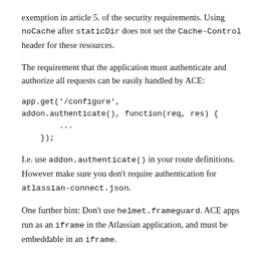exemption in article 5. of the security requirements. Using noCache after staticDir does not set the Cache-Control header for these resources.
The requirement that the application must authenticate and authorize all requests can be easily handled by ACE:
app.get('/configure',
addon.authenticate(), function(req, res) {
        ...
    });
I.e. use addon.authenticate() in your route definitions. However make sure you don't require authentication for atlassian-connect.json.
One further hint: Don't use helmet.frameguard. ACE apps run as an iframe in the Atlassian application, and must be embeddable in an iframe.